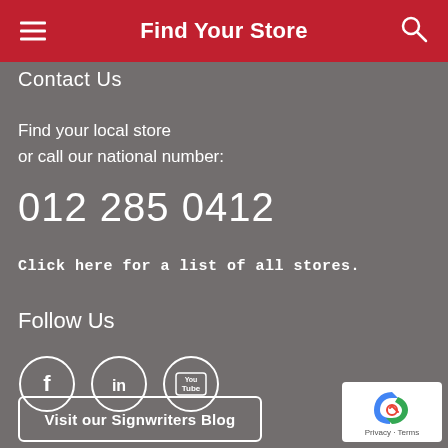Find Your Store
Contact Us
Find your local store
or call our national number:
012 285 0412
Click here for a list of all stores.
Follow Us
[Figure (illustration): Social media icons: Facebook (f), LinkedIn (in), YouTube circles]
Visit our Signwriters Blog
[Figure (logo): reCAPTCHA badge with Privacy - Terms text]